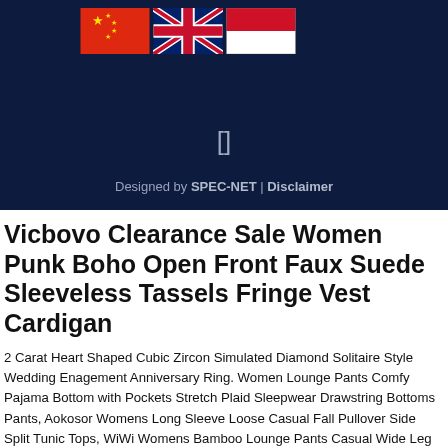[Figure (illustration): Dark navy blue background header section with three country flags (China, UK, Indonesia) aligned to the top left, a bracket/square icon in the center, and footer text 'Designed by SPEC-NET | Disclaimer' at the bottom of the section.]
Vicbovo Clearance Sale Women Punk Boho Open Front Faux Suede Sleeveless Tassels Fringe Vest Cardigan
2 Carat Heart Shaped Cubic Zircon Simulated Diamond Solitaire Style Wedding Enagement Anniversary Ring. Women Lounge Pants Comfy Pajama Bottom with Pockets Stretch Plaid Sleepwear Drawstring Bottoms Pants, Aokosor Womens Long Sleeve Loose Casual Fall Pullover Side Split Tunic Tops, WiWi Womens Bamboo Lounge Pants Casual Wide Leg Pajama Pant Stretch Bottoms Plus Size Sleepwear S-